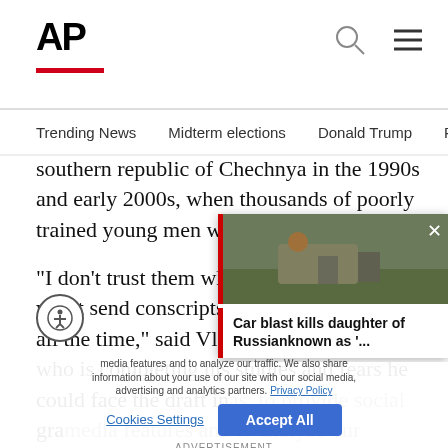AP
Trending News   Midterm elections   Donald Trump   Russia-Ukr
southern republic of Chechnya in the 1990s and early 2000s, when thousands of poorly trained young men were killed.
“I don’t trust them when they say they won’t send conscripts into combat. They lie all the time,” said Vladislav, a 22-year-old who is completing his studies and fears he could face the draft in graduation. He asked that his last reprisals.
[Figure (screenshot): AP news article overlay showing 'Car blast kills daughter of Russian known as...' with background image of soldiers crouching near a vehicle]
Cookies Settings   Accept All   ADVERTISEMENT
media features and to analyze our traffic. We also share information about your use of our site with our social media, advertising and analytics partners. Privacy Policy